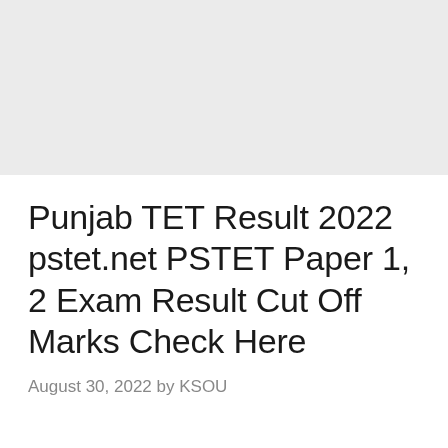[Figure (other): Gray banner/placeholder image area at the top of the page]
Punjab TET Result 2022 pstet.net PSTET Paper 1, 2 Exam Result Cut Off Marks Check Here
August 30, 2022 by KSOU